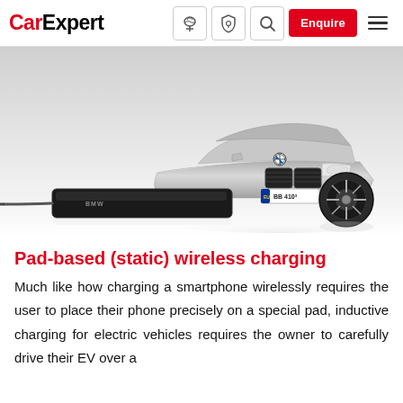CarExpert | Enquire
[Figure (photo): A silver BMW 5-series sedan with a black wireless charging pad placed on the ground in front of it, with a cable running from the pad. The car's front end and right wheel are visible against a white background.]
Pad-based (static) wireless charging
Much like how charging a smartphone wirelessly requires the user to place their phone precisely on a special pad, inductive charging for electric vehicles requires the owner to carefully drive their EV over a